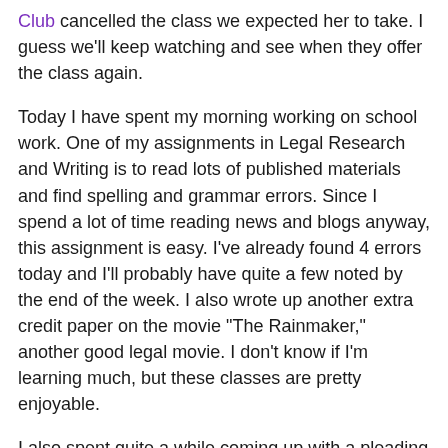Club cancelled the class we expected her to take. I guess we'll keep watching and see when they offer the class again.
Today I have spent my morning working on school work. One of my assignments in Legal Research and Writing is to read lots of published materials and find spelling and grammar errors. Since I spend a lot of time reading news and blogs anyway, this assignment is easy. I've already found 4 errors today and I'll probably have quite a few noted by the end of the week. I also wrote up another extra credit paper on the movie "The Rainmaker," another good legal movie. I don't know if I'm learning much, but these classes are pretty enjoyable.
I also spent quite a while coming up with a pleading paper template in Apple's Pages application. (I'm too cheap to go buy a copy of Word when I've already got Pages which seems to work pretty well for everything I've needed to do so far.) It was a bit of a challenge getting the numbers to display down the left side of the page, but I think I finally got it right.
In my time surfing today I found these fun Economic Funnies